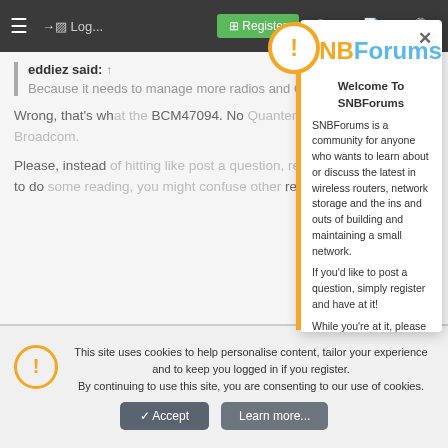≡  Login  Register
eddiez said:
Because it needs to manage more radios and Quantenna code.
Wrong, that's what the BCM47094. No Quantenna used, only Broadcom.
Please, instead of hitting like post a question, register, take some time to do some reading, you might confuse other readers. Thanks
[Figure (screenshot): SNBForums modal popup with bee logo, welcome message and registration prompt]
Welcome To SNBForums
SNBForums is a community for anyone who wants to learn about or discuss the latest in wireless routers, network storage and the ins and outs of building and maintaining a small network.
If you'd like to post a question, simply register and have at it!
While you're at it, please check out SmallNetBuilder for product reviews and our famous Router Charts, Ranker and plenty more!
This site uses cookies to help personalise content, tailor your experience and to keep you logged in if you register. By continuing to use this site, you are consenting to our use of cookies.